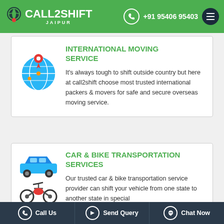CALL2SHIFT JAIPUR | +91 95406 95403
INTERNATIONAL MOVING SERVICE
It's always tough to shift outside country but here at call2shift choose most trusted international packers & movers for safe and secure overseas moving service.
CAR & BIKE TRANSPORTATION SERVICES
Our trusted car & bike transportation service provider can shift your vehicle from one state to another state in special
Call Us | Send Query | Chat Now